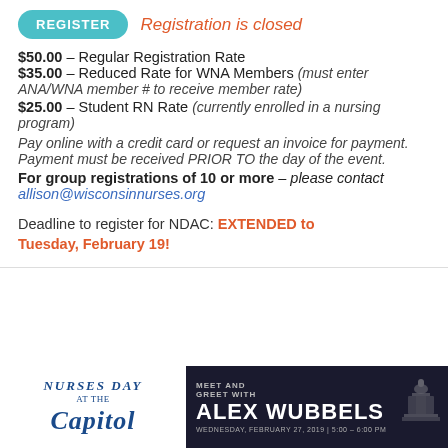REGISTER — Registration is closed
$50.00 – Regular Registration Rate
$35.00 – Reduced Rate for WNA Members (must enter ANA/WNA member # to receive member rate)
$25.00 – Student RN Rate (currently enrolled in a nursing program)
Pay online with a credit card or request an invoice for payment. Payment must be received PRIOR TO the day of the event.
For group registrations of 10 or more – please contact allison@wisconsinnurses.org
Deadline to register for NDAC: EXTENDED to Tuesday, February 19!
[Figure (infographic): Bottom banner with Nurses Day at the Capitol logo on left and dark banner with Meet and Greet with Alex Wubbels text and capitol building icon on right]